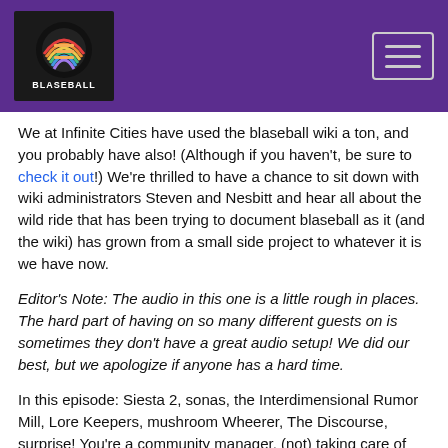Infinite Cities Blaseball header with logo and hamburger menu
We at Infinite Cities have used the blaseball wiki a ton, and you probably have also! (Although if you haven't, be sure to check it out!) We're thrilled to have a chance to sit down with wiki administrators Steven and Nesbitt and hear all about the wild ride that has been trying to document blaseball as it (and the wiki) has grown from a small side project to whatever it is we have now.
Editor's Note: The audio in this one is a little rough in places. The hard part of having on so many different guests on is sometimes they don't have a great audio setup! We did our best, but we apologize if anyone has a hard time.
In this episode: Siesta 2, sonas, the Interdimensional Rumor Mill, Lore Keepers, mushroom Wheerer, The Discourse, surprise! You're a community manager, (not) taking care of yourself, the fandomwiki is dead (don't use the fandomwiki), really bad days that didn't happen, really bad days that did happen.
~shoutouts zone~